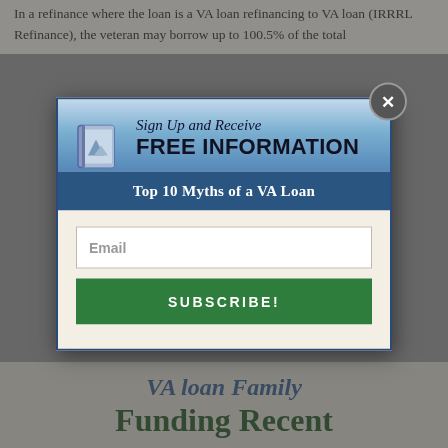In a refinance where the loan is a VA loan refinancing to VA loan (IRRRL Refinance), the veteran may borrow up to 100.5% of the total
[Figure (screenshot): Modal popup overlay with a signup form. Header shows a book icon with 'Sign Up and Receive FREE INFORMATION' text. A dark blue bar reads 'Top 10 Myths of a VA Loan'. Below is a beige background with an email input field and a green 'SUBSCRIBE!' button. A close button (X) is in the top-right corner of the modal.]
VA loan Family Funding Recent